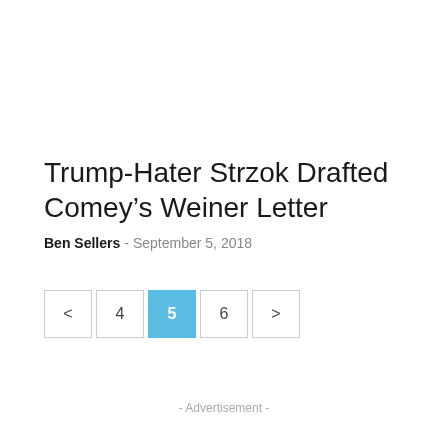Trump-Hater Strzok Drafted Comey's Weiner Letter
Ben Sellers – September 5, 2018
< 4 5 6 >
- Advertisement -